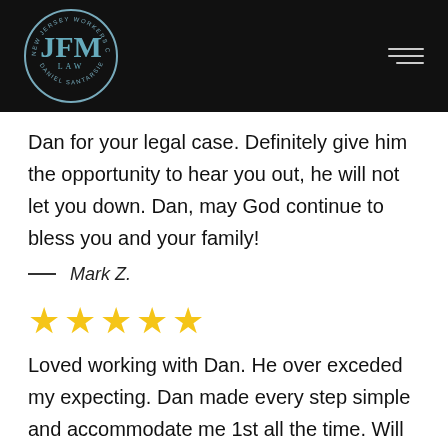[Figure (logo): JFM Law logo — circular badge with 'JFM' monogram and 'LAW' below, ring text reads 'NEW JERSEY WORKERS COMPENSATION LAWYER DANIEL SANTARSIERO', teal/steel blue color on dark background. Hamburger menu icon on right.]
Dan for your legal case. Definitely give him the opportunity to hear you out, he will not let you down. Dan, may God continue to bless you and your family!
— Mark Z.
[Figure (other): Five gold star rating icons]
Loved working with Dan. He over exceded my expecting. Dan made every step simple and accommodate me 1st all the time. Will definitely use his firm in the future if needed.